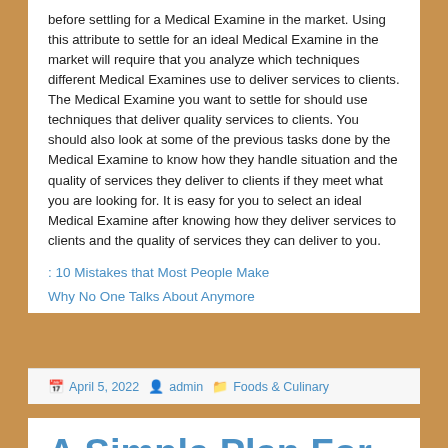before settling for a Medical Examine in the market. Using this attribute to settle for an ideal Medical Examine in the market will require that you analyze which techniques different Medical Examines use to deliver services to clients. The Medical Examine you want to settle for should use techniques that deliver quality services to clients. You should also look at some of the previous tasks done by the Medical Examine to know how they handle situation and the quality of services they deliver to clients if they meet what you are looking for. It is easy for you to select an ideal Medical Examine after knowing how they deliver services to clients and the quality of services they can deliver to you.
: 10 Mistakes that Most People Make
Why No One Talks About Anymore
April 5, 2022  admin  Foods & Culinary
A Simple Plan For Investigating